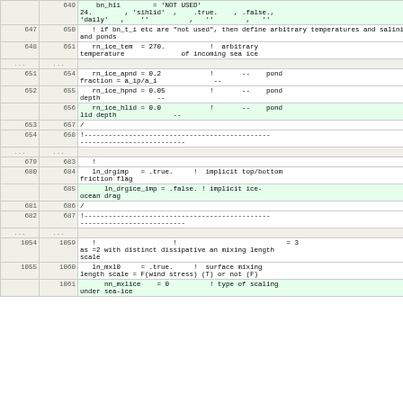| old | new | code |
| --- | --- | --- |
|  | 649 |     bn_h1i        = 'NOT USED'
24.        , 'sihlid'  ,    .true.    , .false.,
'daily'   ,    ''          ,   ''        ,   '' |
| 647 | 650 |    ! if bn_t_i etc are "not used", then define arbitrary temperatures and salinity and ponds |
| 648 | 651 |    rn_ice_tem  = 270.           !  arbitrary temperature              of incoming sea ice |
| ... | ... |  |
| 651 | 654 |    rn_ice_apnd = 0.2            !       --    pond fraction = a_ip/a_i              -- |
| 652 | 655 |    rn_ice_hpnd = 0.05           !       --    pond depth              -- |
|  | 656 |    rn_ice_hlid = 0.0            !       --    pond lid depth              -- |
| 653 | 657 | / |
| 654 | 658 | !---------------------------------------------------------------------- |
| ... | ... |  |
| 679 | 683 |    ! |
| 680 | 684 |    ln_drgimp   = .true.     !  implicit top/bottom friction flag |
|  | 685 |       ln_drgice_imp = .false. ! implicit ice-ocean drag |
| 681 | 686 | / |
| 682 | 687 | !---------------------------------------------------------------------- |
| ... | ... |  |
| 1054 | 1059 |    !                   !                           = 3 as =2 with distinct dissipative an mixing length scale |
| 1055 | 1060 |    ln_mxl0     = .true.     !  surface mixing length scale = F(wind stress) (T) or not (F) |
|  | 1061 |       nn_mxlice    = 0          ! type of scaling under sea-ice |